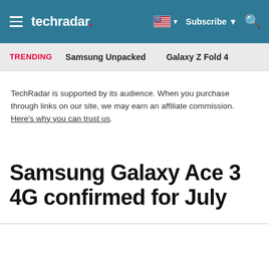techradar | Subscribe | Search
TRENDING   Samsung Unpacked   Galaxy Z Fold 4
TechRadar is supported by its audience. When you purchase through links on our site, we may earn an affiliate commission. Here's why you can trust us.
Samsung Galaxy Ace 3 4G confirmed for July